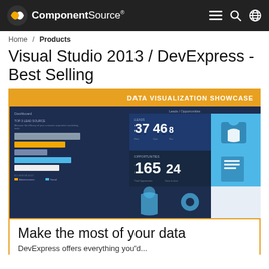ComponentSource
Home / Products
Visual Studio 2013 / DevExpress - Best Selling
[Figure (screenshot): Data Visualization Showcase screenshot showing a dashboard with bar charts, pie chart with segments 33%, 29%, 38%, lead metrics (37, 46, 8), opportunities (165, 24), and customer sales data on a dark blue background with orange header banner.]
Make the most of your data
DevExpress offers everything you'd...